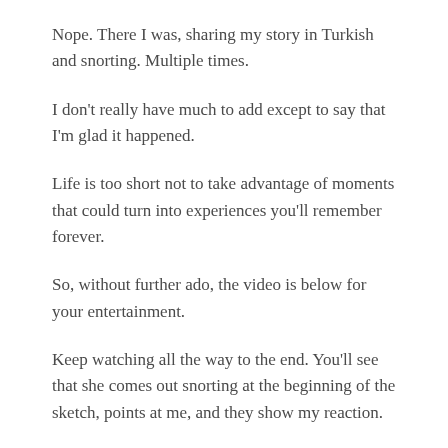Nope. There I was, sharing my story in Turkish and snorting. Multiple times.
I don't really have much to add except to say that I'm glad it happened.
Life is too short not to take advantage of moments that could turn into experiences you'll remember forever.
So, without further ado, the video is below for your entertainment.
Keep watching all the way to the end. You'll see that she comes out snorting at the beginning of the sketch, points at me, and they show my reaction.
A couple people requested captions, so a rough translation of the exchange is below the video.